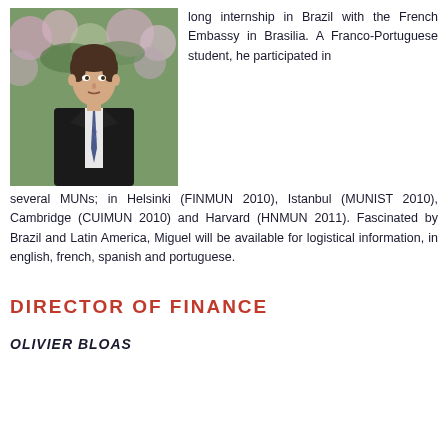[Figure (photo): Young man in dark suit and striped tie standing in front of flowering bushes]
long internship in Brazil with the French Embassy in Brasilia. A Franco-Portuguese student, he participated in several MUNs; in Helsinki (FINMUN 2010), Istanbul (MUNIST 2010), Cambridge (CUIMUN 2010) and Harvard (HNMUN 2011). Fascinated by Brazil and Latin America, Miguel will be available for logistical information, in english, french, spanish and portuguese.
DIRECTOR OF FINANCE
OLIVIER BLOAS